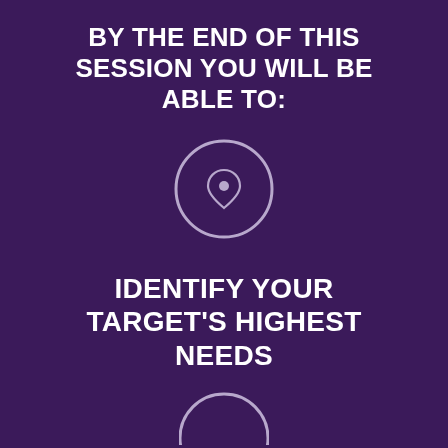BY THE END OF THIS SESSION YOU WILL BE ABLE TO:
[Figure (illustration): A circular icon with a location pin marker inside, rendered in light purple/lavender on a dark purple background]
IDENTIFY YOUR TARGET'S HIGHEST NEEDS
[Figure (illustration): Partial circular icon at the bottom of the page, light purple on dark purple background]